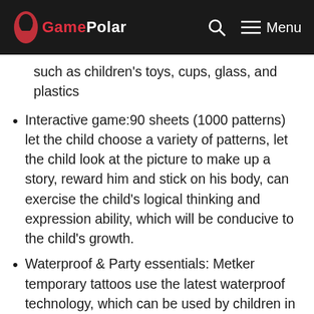GamePolar
such as children's toys, cups, glass, and plastics
Interactive game:90 sheets (1000 patterns) let the child choose a variety of patterns, let the child look at the picture to make up a story, reward him and stick on his body, can exercise the child's logical thinking and expression ability, which will be conducive to the child's growth.
Waterproof & Party essentials: Metker temporary tattoos use the latest waterproof technology, which can be used by children in a series of parties such as pool parties.so that children can